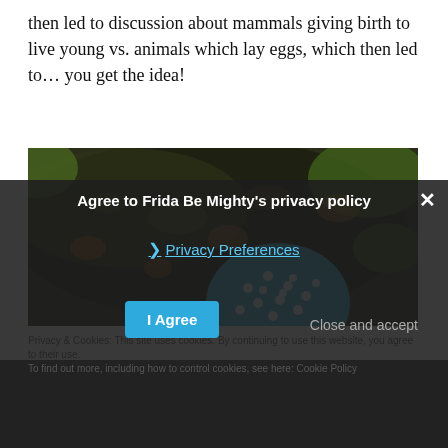then led to discussion about mammals giving birth to live young vs. animals which lay eggs, which then led to… you get the idea!
[Figure (photo): Child wearing a blue polka-dot sun hat looking down at a pond or muddy water with green vegetation and dappled sunlight visible.]
Privacy & Cookies: This site uses cookies. By continuing to use this website, you agree to their use.
To find out more, including how to control cookies, see here: Cookie Policy
Agree to Frida Be Mighty's privacy policy
❯ Privacy Preferences
I Agree
Close and accept